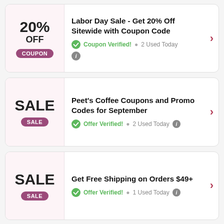[Figure (infographic): Coupon card 1: 20% OFF COUPON badge on left, title 'Labor Day Sale - Get 20% Off Sitewide with Coupon Code', Coupon Verified! 2 Used Today, info icon, arrow on right]
[Figure (infographic): Coupon card 2: SALE badge on left, title "Peet's Coffee Coupons and Promo Codes for September", Offer Verified! 2 Used Today, info icon, arrow on right]
[Figure (infographic): Coupon card 3: SALE badge on left, title 'Get Free Shipping on Orders $49+', Offer Verified! 1 Used Today, info icon, arrow on right]